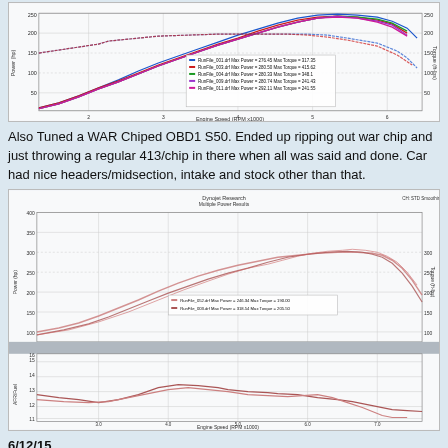[Figure (line-chart): Dyno chart showing multiple run files plotting Power vs Engine Speed (RPM x1000), with legend showing RunFile 001-011 with Max Power and Max Torque values around 270-276 HP and 317-348 ft-lbs]
Also Tuned a WAR Chiped OBD1 S50. Ended up ripping out war chip and just throwing a regular 413/chip in there when all was said and done. Car had nice headers/midsection, intake and stock other than that.
[Figure (line-chart): Dyno chart (Dynojet Research) showing Power and AFR/Fuel vs Engine Speed for two run files, Max Power ~246-318 HP, Max Torque ~190-205 ft-lbs. Upper panel shows power curves, lower panel shows AFR curves.]
6/12/15
Redynoed my personal POS finally.
Previous was full tune with M52, M50 manifold, stock headers/midpipe, intake
After run is New tune (run 20) with S52 cams being the only change...